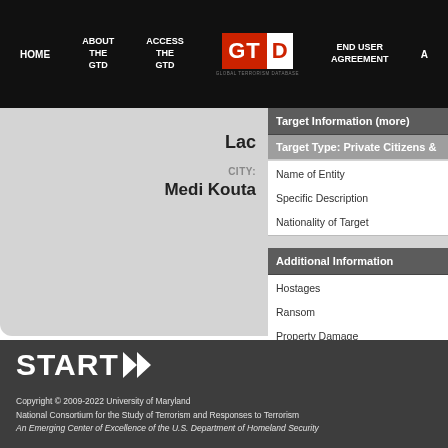HOME | ABOUT THE GTD | ACCESS THE GTD | GTD Logo | END USER AGREEMENT
Lac
CITY: Medi Kouta
Target Information (more)
Target Type: Private Citizens &
Name of Entity
Specific Description
Nationality of Target
Additional Information
Hostages
Ransom
Property Damage
START >> Copyright © 2009-2022 University of Maryland National Consortium for the Study of Terrorism and Responses to Terrorism An Emerging Center of Excellence of the U.S. Department of Homeland Security